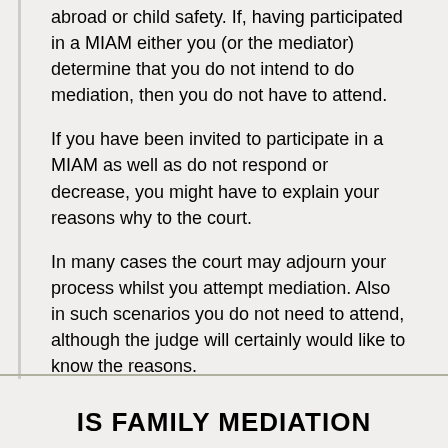abroad or child safety. If, having participated in a MIAM either you (or the mediator) determine that you do not intend to do mediation, then you do not have to attend.
If you have been invited to participate in a MIAM as well as do not respond or decrease, you might have to explain your reasons why to the court.
In many cases the court may adjourn your process whilst you attempt mediation. Also in such scenarios you do not need to attend, although the judge will certainly would like to know the reasons.
IS FAMILY MEDIATION